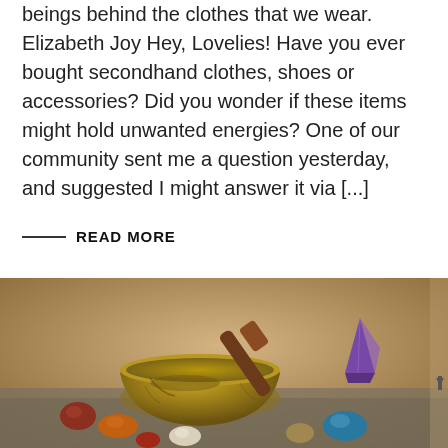beings behind the clothes that we wear. Elizabeth Joy Hey, Lovelies! Have you ever bought secondhand clothes, shoes or accessories? Did you wonder if these items might hold unwanted energies? One of our community sent me a question yesterday, and suggested I might answer it via [...]
——  READ MORE
[Figure (photo): A brass Tibetan singing bowl with a wooden mallet resting across it, surrounded by colorful healing crystals and gemstones on a stone surface.]